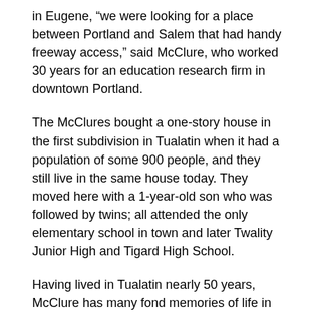in Eugene, “we were looking for a place between Portland and Salem that had handy freeway access,” said McClure, who worked 30 years for an education research firm in downtown Portland.
The McClures bought a one-story house in the first subdivision in Tualatin when it had a population of some 900 people, and they still live in the same house today. They moved here with a 1-year-old son who was followed by twins; all attended the only elementary school in town and later Twality Junior High and Tigard High School.
Having lived in Tualatin nearly 50 years, McClure has many fond memories of life in a small, close-knit town where neighbors help their neighbors, a trait still embraced today. “We soon joined the Methodist Church on Boones Ferry Road, which is now Tualatin Heritage Center on Sweek